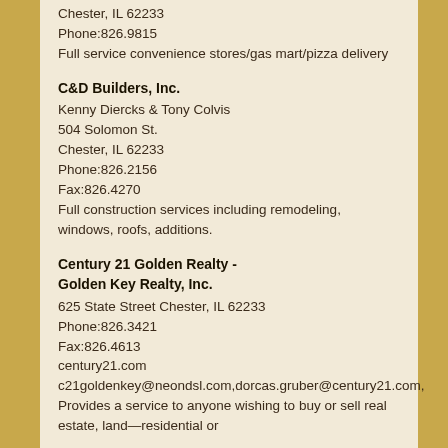Chester, IL 62233
Phone:826.9815
Full service convenience stores/gas mart/pizza delivery
C&D Builders, Inc.
Kenny Diercks & Tony Colvis
504 Solomon St.
Chester, IL 62233
Phone:826.2156
Fax:826.4270
Full construction services including remodeling, windows, roofs, additions.
Century 21 Golden Realty - Golden Key Realty, Inc.
625 State Street Chester, IL 62233
Phone:826.3421
Fax:826.4613
century21.com
c21goldenkey@neondsl.com,dorcas.gruber@century21.com,
Provides a service to anyone wishing to buy or sell real estate, land—residential or